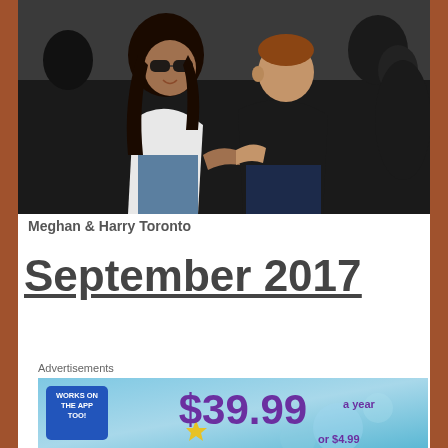[Figure (photo): Photo of Meghan and Harry sitting together in Toronto, Meghan wearing sunglasses and a white shirt, Harry in a black polo shirt, holding hands]
Meghan & Harry Toronto
September 2017
Advertisements
[Figure (infographic): Advertisement banner with light blue background. Left side says WORKS ON THE APP TOO! in white on blue background. Right side shows $39.99 a year or $4.99 in purple text.]